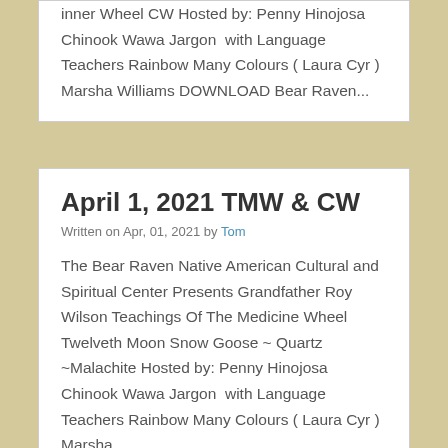inner Wheel CW Hosted by: Penny Hinojosa Chinook Wawa Jargon  with Language Teachers Rainbow Many Colours ( Laura Cyr ) Marsha Williams DOWNLOAD Bear Raven...
April 1, 2021 TMW & CW
Written on Apr, 01, 2021 by Tom
The Bear Raven Native American Cultural and Spiritual Center Presents Grandfather Roy Wilson Teachings Of The Medicine Wheel Twelveth Moon Snow Goose ~ Quartz ~Malachite Hosted by: Penny Hinojosa Chinook Wawa Jargon  with Language Teachers Rainbow Many Colours ( Laura Cyr ) Marsha...